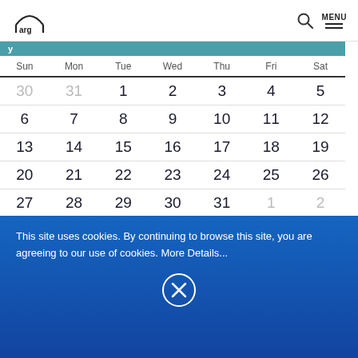ARG logo, search icon, MENU
| Sun | Mon | Tue | Wed | Thu | Fri | Sat |
| --- | --- | --- | --- | --- | --- | --- |
| 30 | 31 | 1 | 2 | 3 | 4 | 5 |
| 6 | 7 | 8 | 9 | 10 | 11 | 12 |
| 13 | 14 | 15 | 16 | 17 | 18 | 19 |
| 20 | 21 | 22 | 23 | 24 | 25 | 26 |
| 27 | 28 | 29 | 30 | 31 | 1 | 2 |
September
This site uses cookies. By continuing to browse this site, you are agreeing to our use of cookies. More Details...